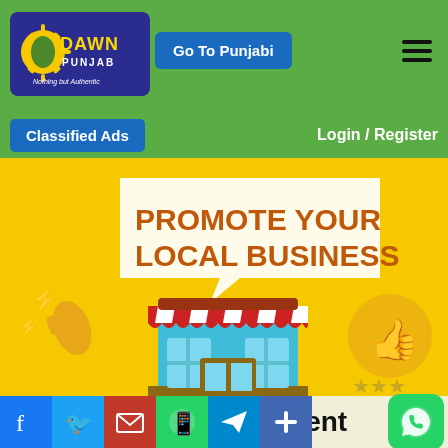[Figure (logo): Dawn Punjab logo - blue rounded rectangle with sun icon, yellow DAWN text, white PUNJAB text, tagline 'Nothing but Authentic']
Go To Punjabi
[Figure (other): Hamburger menu icon (three horizontal lines)]
Classified Ads
Login / Register
[Figure (illustration): Promotional banner with yellow background showing a storefront with red and white striped awning, speech bubble saying 'PROMOTE YOUR LOCAL BUSINESS', megaphone icon on left, thumbs up icon on right with stars]
For Advertisement
[Figure (other): Social media icons row: Facebook, Twitter, Mail, WhatsApp, Telegram, Share plus buttons, and WhatsApp icon on right]